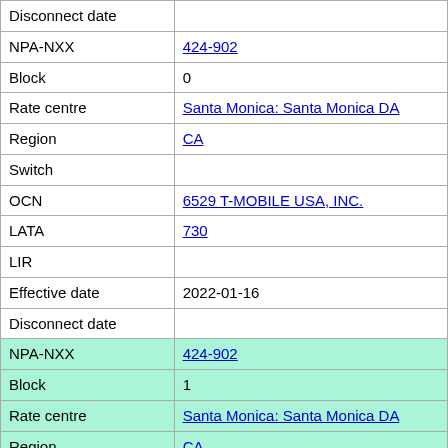| Field | Value |
| --- | --- |
| Disconnect date |  |
| NPA-NXX | 424-902 |
| Block | 0 |
| Rate centre | Santa Monica: Santa Monica DA |
| Region | CA |
| Switch |  |
| OCN | 6529 T-MOBILE USA, INC. |
| LATA | 730 |
| LIR |  |
| Effective date | 2022-01-16 |
| Disconnect date |  |
| NPA-NXX | 424-902 |
| Block | 1 |
| Rate centre | Santa Monica: Santa Monica DA |
| Region | CA |
| Switch |  |
| OCN | 6529 T-MOBILE USA, INC. |
| LATA | 730 |
| LIR |  |
| Effective date | 2022-01-16 |
| Disconnect date |  |
| NPA-NXX | 424-902 |